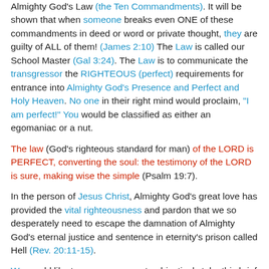Almighty God's Law (the Ten Commandments). It will be shown that when someone breaks even ONE of these commandments in deed or word or private thought, they are guilty of ALL of them! (James 2:10) The Law is called our School Master (Gal 3:24). The Law is to communicate the transgressor the RIGHTEOUS (perfect) requirements for entrance into Almighty God's Presence and Perfect and Holy Heaven. No one in their right mind would proclaim, "I am perfect!" You would be classified as either an egomaniac or a nut.
The law (God's righteous standard for man) of the LORD is PERFECT, converting the soul: the testimony of the LORD is sure, making wise the simple (Psalm 19:7).
In the person of Jesus Christ, Almighty God's great love has provided the vital righteousness and pardon that we so desperately need to escape the damnation of Almighty God's eternal justice and sentence in eternity's prison called Hell (Rev. 20:11-15).
We would like to encourage you to objectively take this brief test on behalf of yourself and to present a case for God...